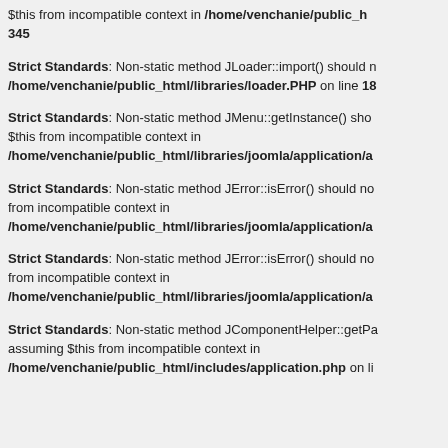$this from incompatible context in /home/venchanie/public_html/... 345
Strict Standards: Non-static method JLoader::import() should not be called statically, assuming $this from incompatible context in /home/venchanie/public_html/libraries/loader.php on line 18
Strict Standards: Non-static method JMenu::getInstance() should not be called statically, assuming $this from incompatible context in /home/venchanie/public_html/libraries/joomla/application/a...
Strict Standards: Non-static method JError::isError() should not be called statically, assuming $this from incompatible context in /home/venchanie/public_html/libraries/joomla/application/a...
Strict Standards: Non-static method JError::isError() should not be called statically, assuming $this from incompatible context in /home/venchanie/public_html/libraries/joomla/application/a...
Strict Standards: Non-static method JComponentHelper::getPa... should not be called statically, assuming $this from incompatible context in /home/venchanie/public_html/includes/application.php on li...